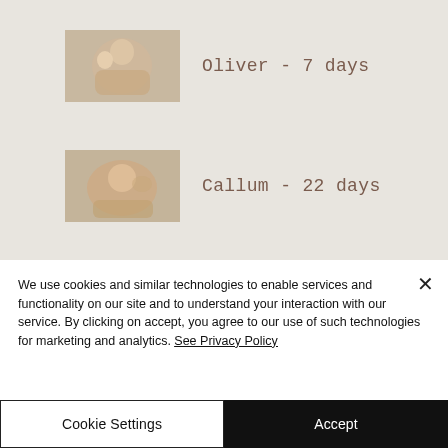[Figure (photo): Thumbnail photo of Oliver at 7 days old, a child being held]
Oliver - 7 days
[Figure (photo): Thumbnail photo of Callum at 22 days old, a newborn baby]
Callum - 22 days
We use cookies and similar technologies to enable services and functionality on our site and to understand your interaction with our service. By clicking on accept, you agree to our use of such technologies for marketing and analytics. See Privacy Policy